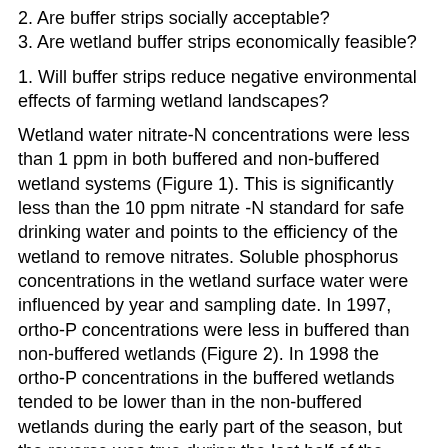2. Are buffer strips socially acceptable?
3. Are wetland buffer strips economically feasible?
1. Will buffer strips reduce negative environmental effects of farming wetland landscapes?
Wetland water nitrate-N concentrations were less than 1 ppm in both buffered and non-buffered wetland systems (Figure 1). This is significantly less than the 10 ppm nitrate -N standard for safe drinking water and points to the efficiency of the wetland to remove nitrates. Soluble phosphorus concentrations in the wetland surface water were influenced by year and sampling date. In 1997, ortho-P concentrations were less in buffered than non-buffered wetlands (Figure 2). In 1998 the ortho-P concentrations in the buffered wetlands tended to be lower than in the non-buffered wetlands during the early part of the season, but the reverse was true during the last half of the sampling season. This reversal is probably the